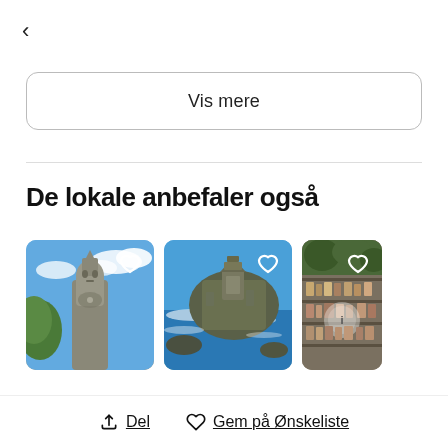<
Vis mere
De lokale anbefaler også
[Figure (photo): Row of three travel photos: a stone statue against blue sky, a coastal temple on rocky cliffs by the sea, and a shop/market interior with shelves of items. Each photo has a heart (favorite) icon overlay.]
Del
Gem på Ønskeliste